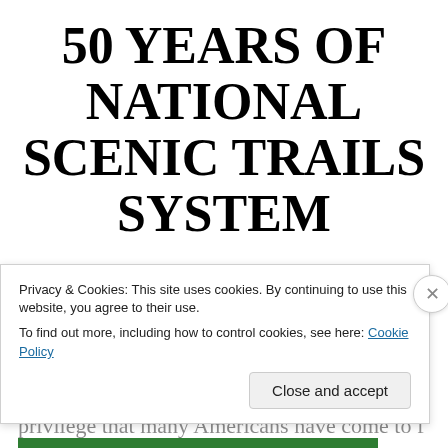50 YEARS OF NATIONAL SCENIC TRAILS SYSTEM
Posted on September 29, 2018
BEING ABLE TO EXPERIENCE ALL THAT THE mountains have to offer is an honor and
Privacy & Cookies: This site uses cookies. By continuing to use this website, you agree to their use. To find out more, including how to control cookies, see here: Cookie Policy
Close and accept